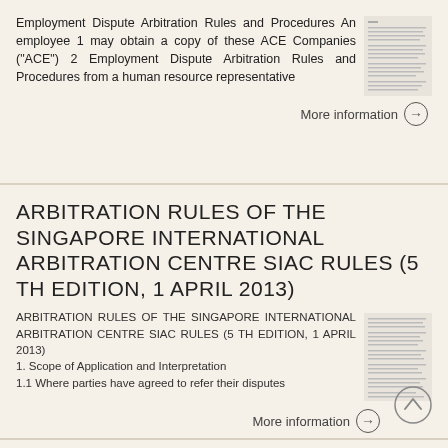Employment Dispute Arbitration Rules and Procedures An employee 1 may obtain a copy of these ACE Companies ("ACE") 2 Employment Dispute Arbitration Rules and Procedures from a human resource representative
[Figure (screenshot): Thumbnail preview of a document page showing text lines]
More information →
ARBITRATION RULES OF THE SINGAPORE INTERNATIONAL ARBITRATION CENTRE SIAC RULES (5 TH EDITION, 1 APRIL 2013)
ARBITRATION RULES OF THE SINGAPORE INTERNATIONAL ARBITRATION CENTRE SIAC RULES (5 TH EDITION, 1 APRIL 2013) 1. Scope of Application and Interpretation 1.1 Where parties have agreed to refer their disputes
[Figure (screenshot): Thumbnail preview of document page with text lines for SIAC Rules]
More information →